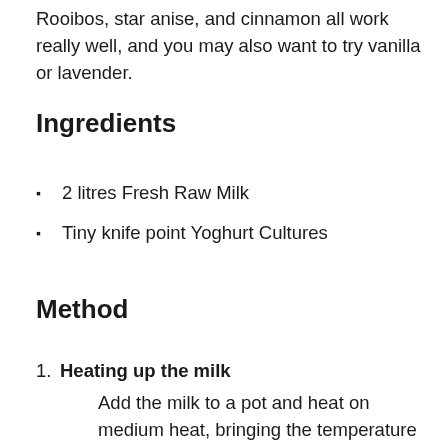Rooibos, star anise, and cinnamon all work really well, and you may also want to try vanilla or lavender.
Ingredients
2 litres Fresh Raw Milk
Tiny knife point Yoghurt Cultures
Method
Heating up the milk
Add the milk to a pot and heat on medium heat, bringing the temperature up to 82C. Once it's reached the temperature remove from the heat, and either cool the pot in an ice bath (cold water) or leave to cool in a